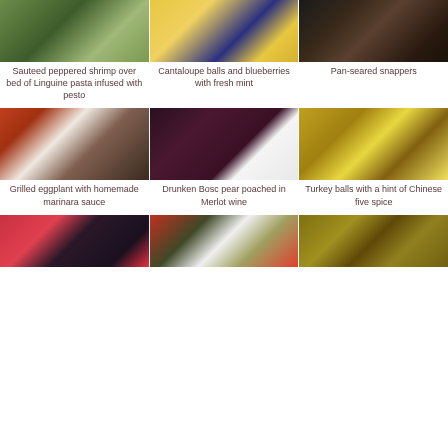[Figure (photo): Sauteed peppered shrimp over bed of Linguine pasta infused with pesto - green noodles on white plate]
[Figure (photo): Cantaloupe balls and blueberries with fresh mint - yellow melon balls with blueberries]
[Figure (photo): Pan-seared snappers - dark seared fish in pan]
Sauteed peppered shrimp over bed of Linguine pasta infused with pesto
Cantaloupe balls and blueberries with fresh mint
Pan-seared snappers
[Figure (photo): Grilled eggplant with homemade marinara sauce - stuffed eggplant rounds with red sauce and cheese]
[Figure (photo): Drunken Bosc pear poached in Merlot wine - dark pear on white plate with balsamic dots]
[Figure (photo): Turkey balls with a hint of Chinese five spice - golden brown meatballs with sauce]
Grilled eggplant with homemade marinara sauce
Drunken Bosc pear poached in Merlot wine
Turkey balls with a hint of Chinese five spice
[Figure (photo): Strawberries and blueberries dessert]
[Figure (photo): Avocado with red peppers and blue cheese]
[Figure (photo): Curry dish with meat in yellow-green sauce]